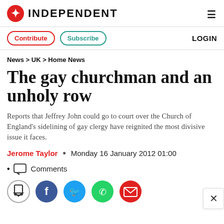INDEPENDENT
Contribute  Subscribe  LOGIN
News > UK > Home News
The gay churchman and an unholy row
Reports that Jeffrey John could go to court over the Church of England's sidelining of gay clergy have reignited the most divisive issue it faces.
Jerome Taylor  •  Monday 16 January 2012 01:00
Comments